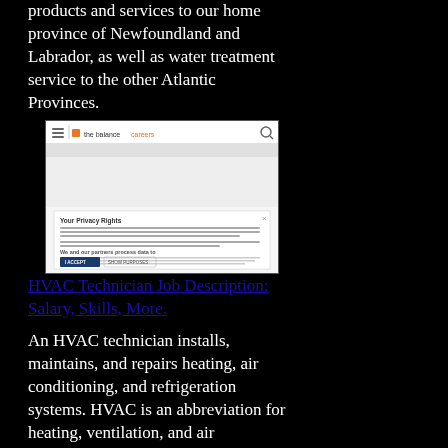products and services to our home province of Newfoundland and Labrador, as well as water treatment service to the other Atlantic Provinces.
[Figure (screenshot): Screenshot of thebalancecareers.com website showing a privacy rights/cookie consent overlay dialog with 'I ACCEPT' and 'SHOW PURPOSES' buttons.]
HVAC Technician Job Description: Salary, Skills, More.
An HVAC technician installs, maintains, and repairs heating, air conditioning, and refrigeration systems. HVAC is an abbreviation for heating, ventilation, and air conditioning" An alternative but less common abbreviation is